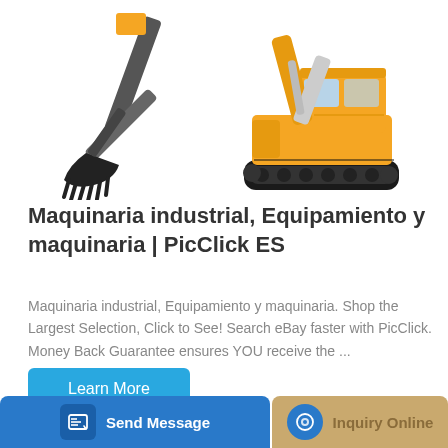[Figure (illustration): Two yellow industrial excavators – one showing just the bucket/arm on the left, one showing the full machine with cab and tracks on the right – on a white background.]
Maquinaria industrial, Equipamiento y maquinaria | PicClick ES
Maquinaria industrial, Equipamiento y maquinaria. Shop the Largest Selection, Click to See! Search eBay faster with PicClick. Money Back Guarantee ensures YOU receive the ...
Learn More
Send Message
Inquiry Online